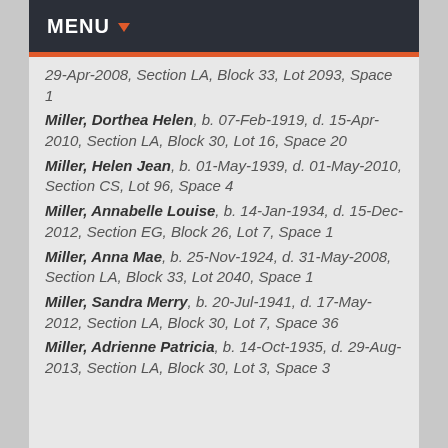MENU
29-Apr-2008, Section LA, Block 33, Lot 2093, Space 1
Miller, Dorthea Helen, b. 07-Feb-1919, d. 15-Apr-2010, Section LA, Block 30, Lot 16, Space 20
Miller, Helen Jean, b. 01-May-1939, d. 01-May-2010, Section CS, Lot 96, Space 4
Miller, Annabelle Louise, b. 14-Jan-1934, d. 15-Dec-2012, Section EG, Block 26, Lot 7, Space 1
Miller, Anna Mae, b. 25-Nov-1924, d. 31-May-2008, Section LA, Block 33, Lot 2040, Space 1
Miller, Sandra Merry, b. 20-Jul-1941, d. 17-May-2012, Section LA, Block 30, Lot 7, Space 36
Miller, Adrienne Patricia, b. 14-Oct-1935, d. 29-Aug-2013, Section LA, Block 30, Lot 3, Space 3